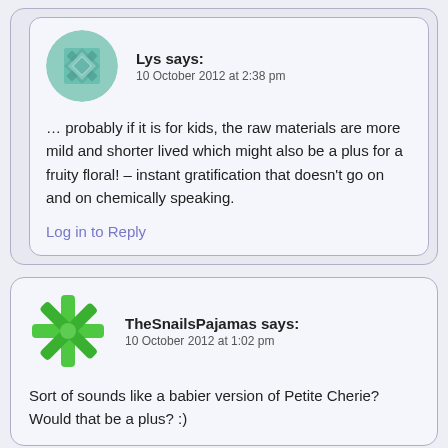Lys says:
10 October 2012 at 2:38 pm
… probably if it is for kids, the raw materials are more mild and shorter lived which might also be a plus for a fruity floral! – instant gratification that doesn't go on and on chemically speaking.
Log in to Reply
TheSnailsPajamas says:
10 October 2012 at 1:02 pm
Sort of sounds like a babier version of Petite Cherie? Would that be a plus? :)